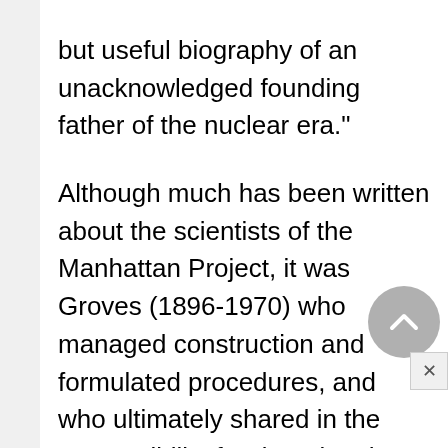but useful biography of an unacknowledged founding father of the nuclear era."
Although much has been written about the scientists of the Manhattan Project, it was Groves (1896-1970) who managed construction and formulated procedures, and who ultimately shared in the responsibility for dropping the atomic bomb on Japan. He was a West Point graduate and career officer in the Army Corps of Engineers when he was selected in